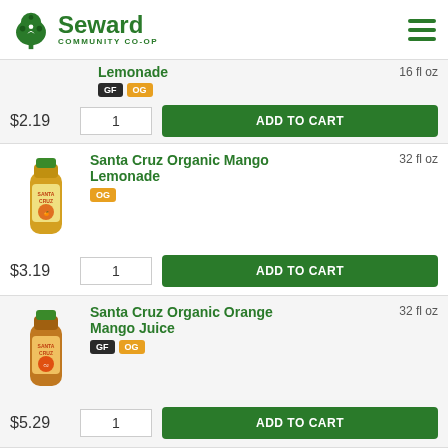Seward Community Co-op
Lemonade | 16 fl oz | GF OG | $2.19 | ADD TO CART
[Figure (photo): Santa Cruz Organic Mango Lemonade bottle, 32 fl oz]
Santa Cruz Organic Mango Lemonade | 32 fl oz | OG | $3.19 | ADD TO CART
[Figure (photo): Santa Cruz Organic Orange Mango Juice bottle, 32 fl oz]
Santa Cruz Organic Orange Mango Juice | 32 fl oz | GF OG | $5.29 | ADD TO CART
Santa Cruz Organic [product name cut off]